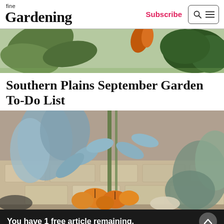fine Gardening | Subscribe
[Figure (photo): Banner photo of garden plants with large leaves and green shrubs]
Southern Plains September Garden To-Do List
[Figure (photo): Garden arrangement with eucalyptus branches, small orange pumpkins, and silver-green foliage against a stone wall]
You have 1 free article remaining.